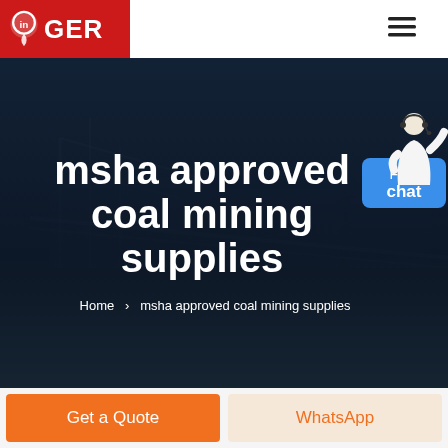GER
msha approved coal mining supplies
Home  >  msha approved coal mining supplies
[Figure (illustration): Free chat button with customer service representative illustration in top right corner]
Get a Quote
WhatsApp